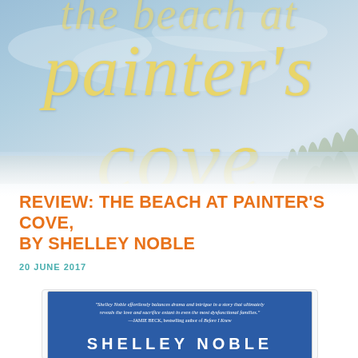[Figure (photo): Book cover image of 'The Beach at Painter's Cove' by Shelley Noble — top portion showing large italic yellow-gold title text on a pale blue sky/beach background. Partial text visible: 'painter's cove' in large decorative serif font.]
REVIEW: THE BEACH AT PAINTER'S COVE, BY SHELLEY NOBLE
20 JUNE 2017
[Figure (photo): Book cover for 'The Beach at Painter's Cove' by Shelley Noble on a blue background. Contains a blurb quote: 'Shelley Noble effortlessly balances drama and intrigue in a story that ultimately reveals the love and sacrifice extant in even the most dysfunctional families.' —JAMIE BECK, bestselling author of Before I Knew. Author name SHELLEY NOBLE displayed prominently at bottom.]